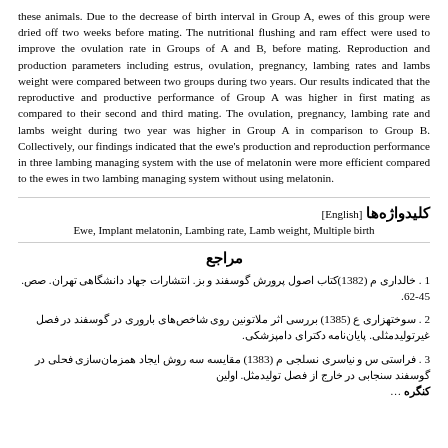these animals. Due to the decrease of birth interval in Group A, ewes of this group were dried off two weeks before mating. The nutritional flushing and ram effect were used to improve the ovulation rate in Groups of A and B, before mating. Reproduction and production parameters including estrus, ovulation, pregnancy, lambing rates and lambs weight were compared between two groups during two years. Our results indicated that the reproductive and productive performance of Group A was higher in first mating as compared to their second and third mating. The ovulation, pregnancy, lambing rate and lambs weight during two year was higher in Group A in comparison to Group B. Collectively, our findings indicated that the ewe's production and reproduction performance in three lambing managing system with the use of melatonin were more efficient compared to the ewes in two lambing managing system without using melatonin.
کلیدواژه‌ها [English]
Ewe, Implant melatonin, Lambing rate, Lamb weight, Multiple birth
مراجع
1 . خالداری م (1382)کتاب اصول پرورش گوسفند و بز. انتشارات جهاد دانشگاهی تهران. صص. 45-62.
2 . سوختهزاری ع (1385) بررسی اثر ملاتونین روی شاخص‌های باروری در گوسفند در فصل غیرتولیدمثلی. پایان‌نامه دکترای دامپزشکی.
3 . فراستی س و نیاسری نسلجی م (1383) مقایسه سه روش ایجاد همزمان‌سازی فحلی در گوسفند سنجابی در خارج از فصل تولیدمثل. اولین کنگره...